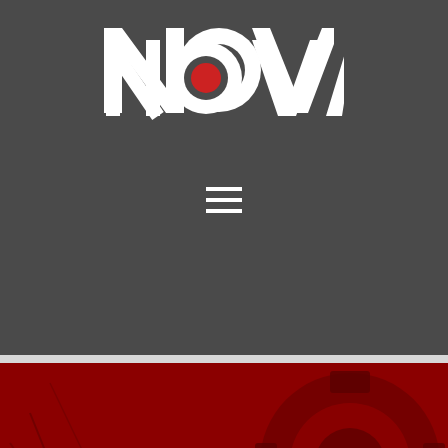[Figure (logo): NOVA logo in white bold letters with a red circle replacing the O, on dark gray background]
[Figure (other): Hamburger menu icon (three white horizontal lines) on dark gray background]
[Figure (photo): Background hero image showing red-tinted mechanical engineering parts (gears, cogs) with overlay text]
MECHANICAL ENGINEERING
DESIGN & DETAILING